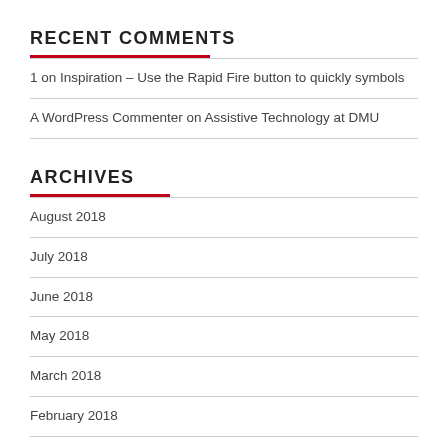RECENT COMMENTS
1 on Inspiration – Use the Rapid Fire button to quickly symbols
A WordPress Commenter on Assistive Technology at DMU
ARCHIVES
August 2018
July 2018
June 2018
May 2018
March 2018
February 2018
December 2017